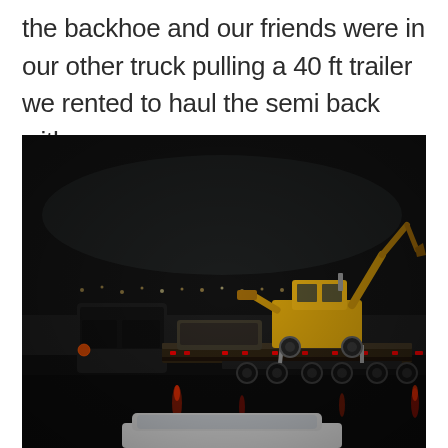the backhoe and our friends were in our other truck pulling a 40 ft trailer we rented to haul the semi back with.
[Figure (photo): Nighttime photo of a truck pulling a large flatbed trailer with a yellow backhoe/excavator loaded on it, taken from inside a vehicle. The scene is dark with red trailer lights reflecting off wet pavement. A white car is visible in the foreground bottom.]